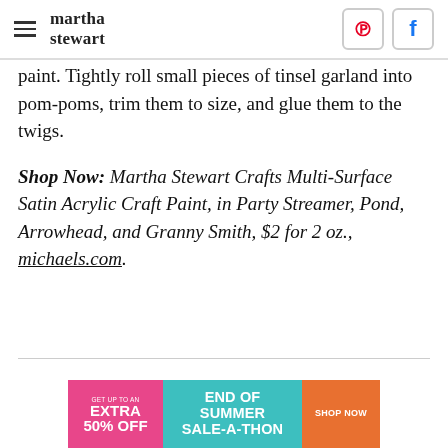martha stewart
paint. Tightly roll small pieces of tinsel garland into pom-poms, trim them to size, and glue them to the twigs.
Shop Now: Martha Stewart Crafts Multi-Surface Satin Acrylic Craft Paint, in Party Streamer, Pond, Arrowhead, and Granny Smith, $2 for 2 oz., michaels.com.
[Figure (infographic): Advertisement banner: GET UP TO AN EXTRA 50% OFF | END OF SUMMER SALE-A-THON | SHOP NOW]